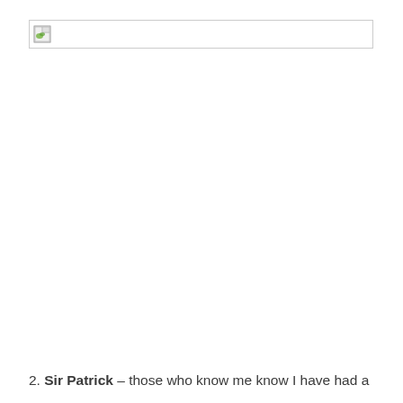[Figure (other): Broken/missing image placeholder with a small thumbnail icon and a long empty rectangular border area, representing a header image that failed to load.]
2. Sir Patrick – those who know me know I have had a